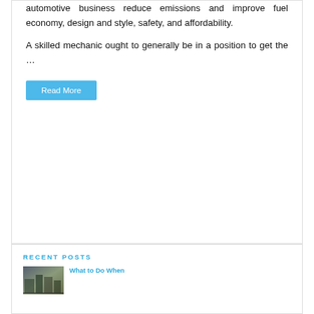automotive business reduce emissions and improve fuel economy, design and style, safety, and affordability.
A skilled mechanic ought to generally be in a position to get the …
Read More
RECENT POSTS
What to Do When